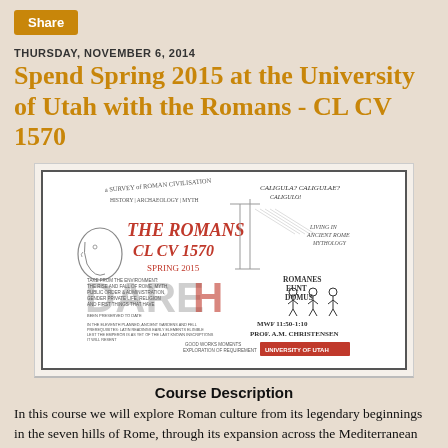Share
THURSDAY, NOVEMBER 6, 2014
Spend Spring 2015 at the University of Utah with the Romans - CL CV 1570
[Figure (illustration): Course flyer illustration for The Romans CL CV 1570, Spring 2015, featuring hand-drawn Roman figures, text including 'THE ROMANS CL CV 1570 SPRING 2015', 'ROMANES EUNT DOMUS', 'MWF 11:50-1:10', 'PROF. A.M. CHRISTENSEN', and the University of Utah logo.]
Course Description
In this course we will explore Roman culture from its legendary beginnings in the seven hills of Rome, through its expansion across the Mediterranean and Europe, to the rise the Roman Empire. Roman cultural studies rely on a multidisciplinary approach